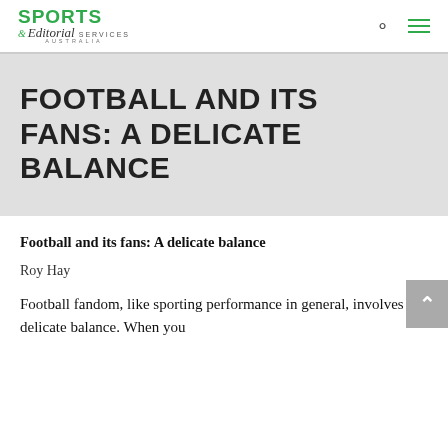SPORTS & Editorial SERVICES AUSTRALIA
FOOTBALL AND ITS FANS: A DELICATE BALANCE
Football and its fans: A delicate balance
Roy Hay
Football fandom, like sporting performance in general, involves a delicate balance. When you